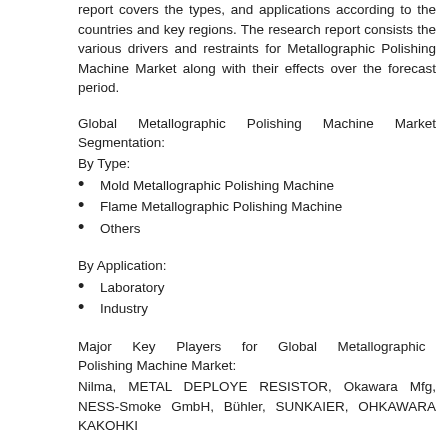report covers the types, and applications according to the countries and key regions. The research report consists the various drivers and restraints for Metallographic Polishing Machine Market along with their effects over the forecast period.
Global Metallographic Polishing Machine Market Segmentation:
By Type:
Mold Metallographic Polishing Machine
Flame Metallographic Polishing Machine
Others
By Application:
Laboratory
Industry
Major Key Players for Global Metallographic Polishing Machine Market:
Nilma, METAL DEPLOYE RESISTOR, Okawara Mfg, NESS-Smoke GmbH, Bühler, SUNKAIER, OHKAWARA KAKOHKI
Global Metallographic Polishing Machine Market